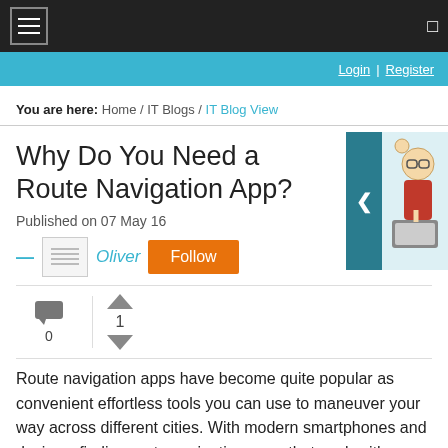Navigation bar with hamburger menu
Login | Register
You are here: Home / IT Blogs / IT Blog View
Why Do You Need a Route Navigation App?
Published on 07 May 16
— Oliver Follow
[Figure (illustration): Cartoon illustration of a person thinking, with a teal/dark cyan background panel and left chevron arrow]
0 comments, 1 vote
Route navigation apps have become quite popular as convenient effortless tools you can use to maneuver your way across different cities. With modern smartphones and devices, finding route navigation apps that work with your gadget should not be an overwhelming task especially since there are many in the app markets. However, not all such